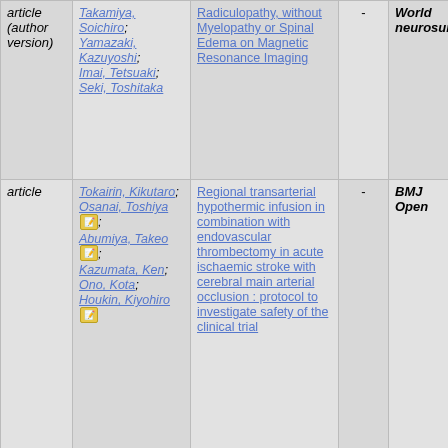| type | authors | title | year | journal |
| --- | --- | --- | --- | --- |
| article (author version) | Takamiya, Soichiro; Yamazaki, Kazuyoshi; Imai, Tetsuaki; Seki, Toshitaka | Radiculopathy, without Myelopathy or Spinal Edema on Magnetic Resonance Imaging | - | World neurosurgery |
| article | Tokairin, Kikutaro; Osanai, Toshiya; Abumiya, Takeo; Kazumata, Ken; Ono, Kota; Houkin, Kiyohiro | Regional transarterial hypothermic infusion in combination with endovascular thrombectomy in acute ischaemic stroke with cerebral main arterial occlusion : protocol to investigate safety of the clinical trial | - | BMJ Open |
|  | Shimbo, Daisuke; Abumiya, |  |  |  |